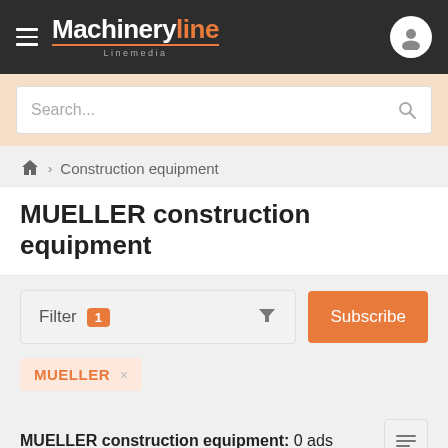Machineryline Linemedia
Search...
Construction equipment
MUELLER construction equipment
Filter 1
Subscribe
MUELLER ×
MUELLER construction equipment: 0 ads